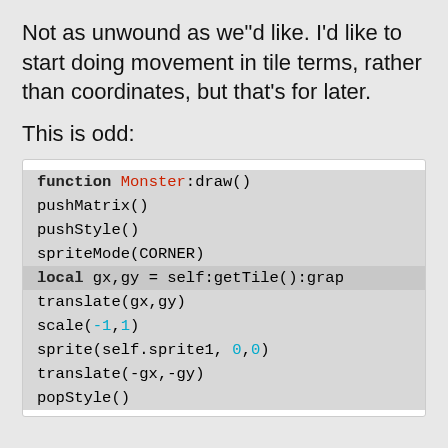Not as unwound as we"d like. I'd like to start doing movement in tile terms, rather than coordinates, but that's for later.
This is odd:
[Figure (screenshot): Code block showing function Monster:draw() with pushMatrix(), pushStyle(), spriteMode(CORNER), local gx,gy = self:getTile():grap, translate(gx,gy), scale(-1,1), sprite(self.sprite1, 0,0), translate(-gx,-gy), popStyle()]